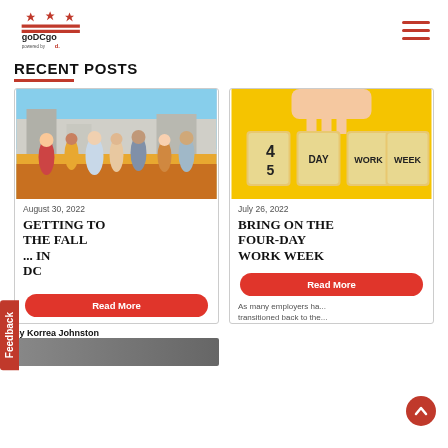[Figure (logo): goDCgo logo with red DC flag stars graphic, text goDCgo powered by d.]
RECENT POSTS
[Figure (photo): People dancing or walking outdoors at an event]
August 30, 2022
GETTING TO THE FALL ... IN DC
Read More
[Figure (photo): Wooden blocks spelling 4 DAY WORK WEEK being flipped from 5 DAY WORK WEEK on yellow background]
July 26, 2022
BRING ON THE FOUR-DAY WORK WEEK
Read More
As many employers ha... transitioned back to the...
by Korrea Johnston